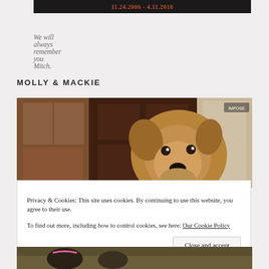[Figure (photo): Dark banner with orange/rust colored text showing dates 11.24.2006 - 4.11.2016]
We will always remember you Mitch.
MOLLY & MACKIE
[Figure (photo): Photo of an Airedale Terrier dog looking at camera with wooden cabinet/furniture in background]
Privacy & Cookies: This site uses cookies. By continuing to use this website, you agree to their use.
To find out more, including how to control cookies, see here: Our Cookie Policy
[Figure (photo): Bottom strip showing partial photo of dogs on ground]